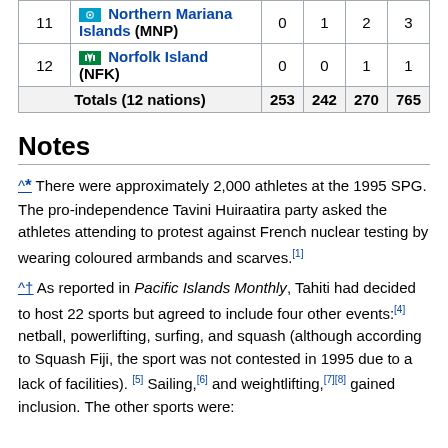| # | Nation | Gold | Silver | Bronze | Total |
| --- | --- | --- | --- | --- | --- |
| 11 | Northern Mariana Islands (MNP) | 0 | 1 | 2 | 3 |
| 12 | Norfolk Island (NFK) | 0 | 0 | 1 | 1 |
|  | Totals (12 nations) | 253 | 242 | 270 | 765 |
Notes
^* There were approximately 2,000 athletes at the 1995 SPG. The pro-independence Tavini Huiraatira party asked the athletes attending to protest against French nuclear testing by wearing coloured armbands and scarves.[1]
^† As reported in Pacific Islands Monthly, Tahiti had decided to host 22 sports but agreed to include four other events:[4] netball, powerlifting, surfing, and squash (although according to Squash Fiji, the sport was not contested in 1995 due to a lack of facilities). [5] Sailing,[6] and weightlifting,[7][8] gained inclusion. The other sports were: